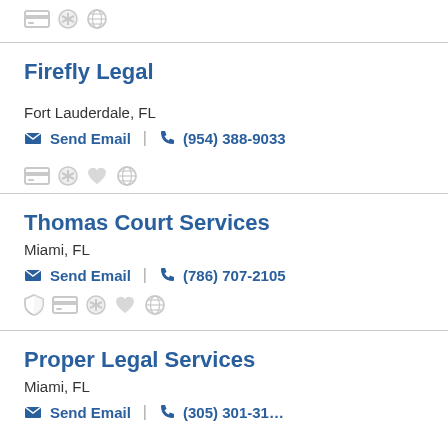[Figure (infographic): Small gray icons: credit card, asterisk/badge, globe]
Firefly Legal
Fort Lauderdale, FL
Send Email | (954) 388-9033
[Figure (infographic): Small gray icons: credit card, asterisk/badge, heart, globe]
Thomas Court Services
Miami, FL
Send Email | (786) 707-2105
[Figure (infographic): Small gray icons: shield, credit card, asterisk/badge, heart, globe]
Proper Legal Services
Miami, FL
Send Email | (305) 301-31...